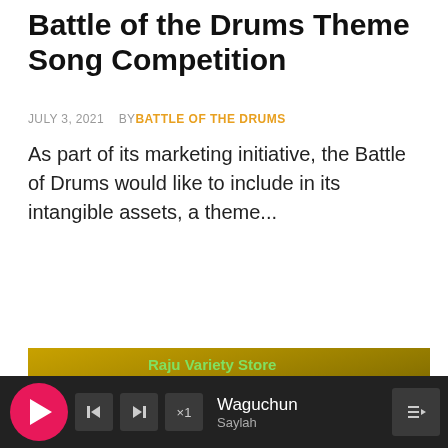Battle of the Drums Theme Song Competition
JULY 3, 2021   BY BATTLE OF THE DRUMS
As part of its marketing initiative, the Battle of Drums would like to include in its intangible assets, a theme...
READ MORE
[Figure (photo): Group photo of people at an event with banners including 'Raju Variety Store', 'UKIN', and 'TRAVELLERS'. The image has a yellow/golden tint.]
Waguchun
Saylah